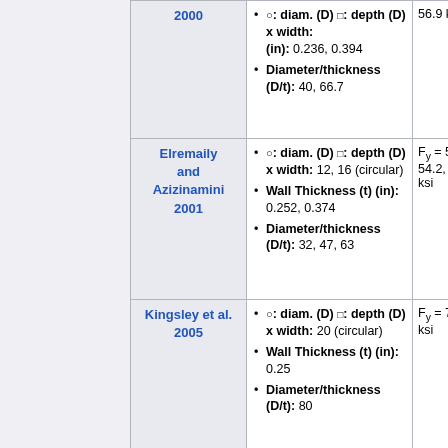| Author | Section Properties | Fy |
| --- | --- | --- |
| 2000 | ○: diam. (D) □: depth (D) x width: (in): 0.236, 0.394 | Diameter/thickness (D/t): 40, 66.7 | 56.9 ksi |
| Elremaily and Azizinamini 2001 | ○: diam. (D) □: depth (D) x width: 12, 16 (circular) | Wall Thickness (t) (in): 0.252, 0.374 | Diameter/thickness (D/t): 32, 47, 63 | Fy = 53.8, 54.2, 64.3 ksi |
| Kingsley et al. 2005 | ○: diam. (D) □: depth (D) x width: 20 (circular) | Wall Thickness (t) (in): 0.25 | Diameter/thickness (D/t): 80 | Fy = 76.3 ksi |
| Cheng, Chan, and Chung | ○: diam. (D) □: depth (D) x width: 13.8 (square) | Wall Thickness (t) | Fy = 67 ksi |